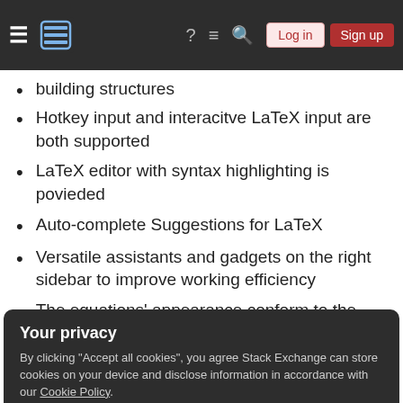Stack Exchange navigation bar with hamburger menu, logo, help, chat, search icons, Log in and Sign up buttons
building structures
Hotkey input and interacitve LaTeX input are both supported
LaTeX editor with syntax highlighting is povieded
Auto-complete Suggestions for LaTeX
Versatile assistants and gadgets on the right sidebar to improve working efficiency
The equations' appearance conform to the AMS/LaTeX standard
Your privacy
By clicking "Accept all cookies", you agree Stack Exchange can store cookies on your device and disclose information in accordance with our Cookie Policy.
Colorful equations, automatically or manually